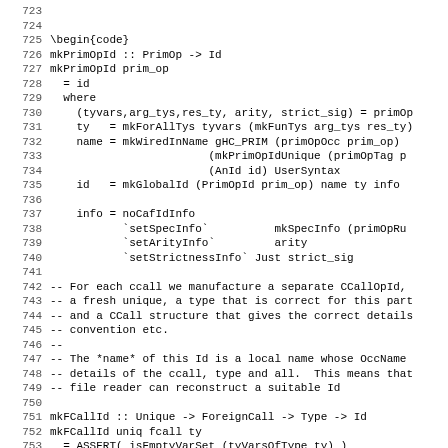Code block lines 723-755 showing Haskell source code with line numbers. mkPrimOpId and mkFCallId function definitions with comments.